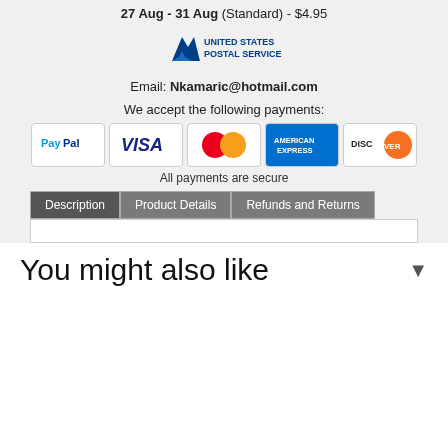27 Aug - 31 Aug (Standard) - $4.95
[Figure (logo): United States Postal Service (USPS) logo]
Email: Nkamaric@hotmail.com
We accept the following payments:
[Figure (infographic): Payment method icons: PayPal, Visa, MasterCard, American Express, Discover]
All payments are secure
Description | Product Details | Refunds and Returns (tabs)
You might also like